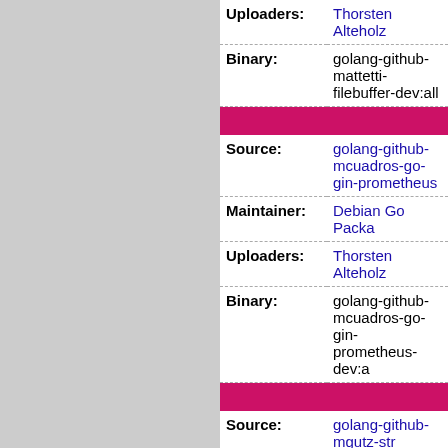| Field | Value |
| --- | --- |
| Uploaders: | Thorsten Alteholz |
| Binary: | golang-github-mattetti-filebuffer-dev:all |
| Field | Value |
| --- | --- |
| Source: | golang-github-mcuadros-go-gin-prometheus |
| Maintainer: | Debian Go Packa… |
| Uploaders: | Thorsten Alteholz |
| Binary: | golang-github-mcuadros-go-gin-prometheus-dev:a… |
| Field | Value |
| --- | --- |
| Source: | golang-github-mgutz-str |
| Maintainer: | Debian Go Packa… |
| Uploaders: | Jongmin Kim <jmk… |
| Binary: | golang-github-mgutz-str-dev:all |